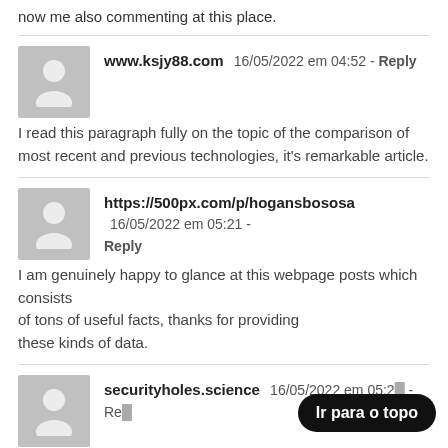now me also commenting at this place.
www.ksjy88.com  16/05/2022 em 04:52 - Reply
I read this paragraph fully on the topic of the comparison of most recent and previous technologies, it's remarkable article.
https://500px.com/p/hogansbososa  16/05/2022 em 05:21 - Reply
I am genuinely happy to glance at this webpage posts which consists of tons of useful facts, thanks for providing these kinds of data.
securityholes.science  16/05/2022 em 05:2_ - Reply
I love reading through an article that w_ women think.
Ir para o topo